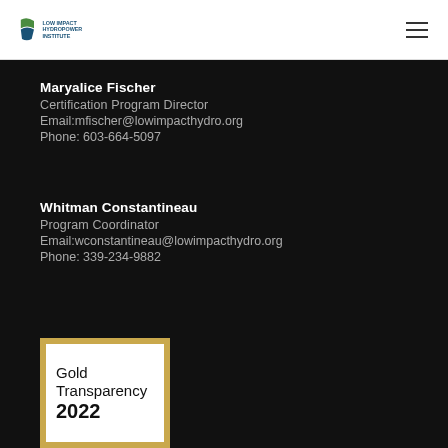[Figure (logo): Low Impact Hydropower Institute logo with green and blue leaf/water icon and organization name text]
Maryalice Fischer
Certification Program Director
Email:mfischer@lowimpacthydro.org
Phone: 603-664-5097
Whitman Constantineau
Program Coordinator
Email:wconstantineau@lowimpacthydro.org
Phone: 339-234-9882
[Figure (other): Gold Transparency 2022 badge with gold border on white background]